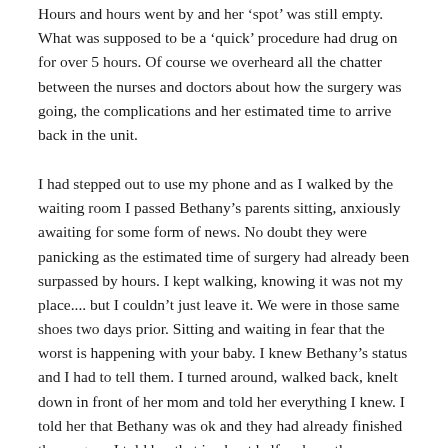Hours and hours went by and her ‘spot’ was still empty. What was supposed to be a ‘quick’ procedure had drug on for over 5 hours. Of course we overheard all the chatter between the nurses and doctors about how the surgery was going, the complications and her estimated time to arrive back in the unit.
I had stepped out to use my phone and as I walked by the waiting room I passed Bethany’s parents sitting, anxiously awaiting for some form of news. No doubt they were panicking as the estimated time of surgery had already been surpassed by hours. I kept walking, knowing it was not my place.... but I couldn’t just leave it. We were in those same shoes two days prior. Sitting and waiting in fear that the worst is happening with your baby. I knew Bethany’s status and I had to tell them. I turned around, walked back, knelt down in front of her mom and told her everything I knew. I told her that Bethany was ok and they had already finished the surgery. I told her that in about half an hour they were bringing her back. Her mom stood up, gave me the biggest hug and blubffered on my shoulder and cried”